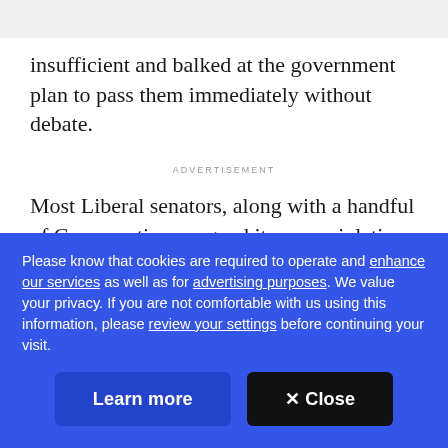insufficient and balked at the government plan to pass them immediately without debate.
ADVERTISEMENT
Most Liberal senators, along with a handful of Conservatives, argued it was a violation of the fundamental right to due process to suspend Mike Duffy, Pamela Wallin and Patrick Brazeau before they'd
Please know that cookies are required to operate and enhance our services as well as for advertising purposes. We value your privacy. If you are not comfortable with us using this information, please review your settings before continuing your visit.